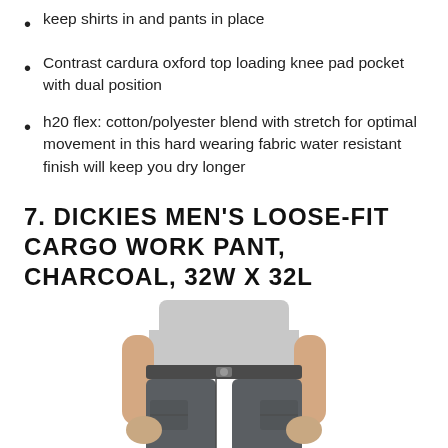keep shirts in and pants in place
Contrast cardura oxford top loading knee pad pocket with dual position
h20 flex: cotton/polyester blend with stretch for optimal movement in this hard wearing fabric water resistant finish will keep you dry longer
7. DICKIES MEN'S LOOSE-FIT CARGO WORK PANT, CHARCOAL, 32W X 32L
[Figure (photo): Man wearing charcoal Dickies loose-fit cargo work pants and a light grey t-shirt, shown from waist down, hands in pockets.]